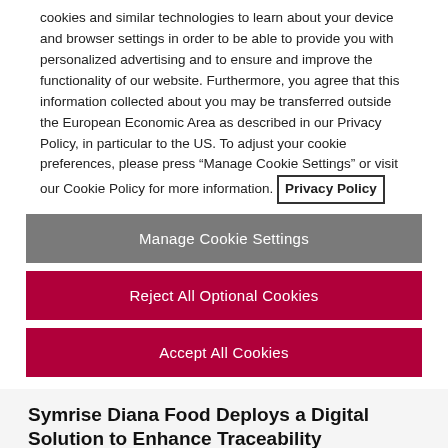cookies and similar technologies to learn about your device and browser settings in order to be able to provide you with personalized advertising and to ensure and improve the functionality of our website. Furthermore, you agree that this information collected about you may be transferred outside the European Economic Area as described in our Privacy Policy, in particular to the US. To adjust your cookie preferences, please press “Manage Cookie Settings” or visit our Cookie Policy for more information. Privacy Policy
Manage Cookie Settings
Reject All Optional Cookies
Accept All Cookies
Symrise Diana Food Deploys a Digital Solution to Enhance Traceability
Symrise Diana Food, the leading ingredient...